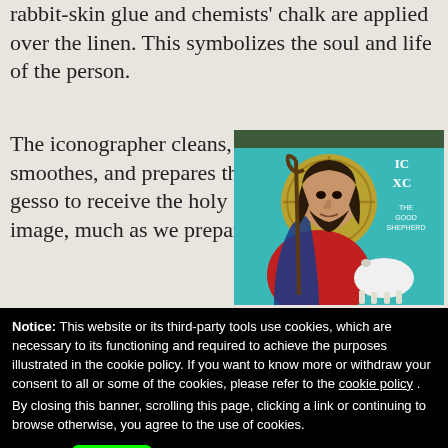rabbit-skin glue and chemists' chalk are applied over the linen. This symbolizes the soul and life of the person.
The iconographer cleans, smoothes, and prepares the gesso to receive the holy image, much as we prepare
[Figure (illustration): An icon painting of the Good Shepherd (Jesus Christ) holding a staff and carrying a lamb, with a halo, wearing red robes, against a teal background. Text on the image reads 'IC XC THE GOOD SHEPHERD'.]
Notice: This website or its third-party tools use cookies, which are necessary to its functioning and required to achieve the purposes illustrated in the cookie policy. If you want to know more or withdraw your consent to all or some of the cookies, please refer to the cookie policy . By closing this banner, scrolling this page, clicking a link or continuing to browse otherwise, you agree to the use of cookies.
OK